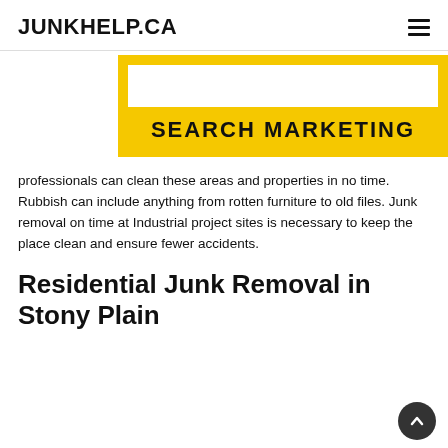JUNKHELP.CA
[Figure (screenshot): Yellow banner with a white search box and the text SEARCH MARKETING in bold black letters]
professionals can clean these areas and properties in no time. Rubbish can include anything from rotten furniture to old files. Junk removal on time at Industrial project sites is necessary to keep the place clean and ensure fewer accidents.
Residential Junk Removal in Stony Plain